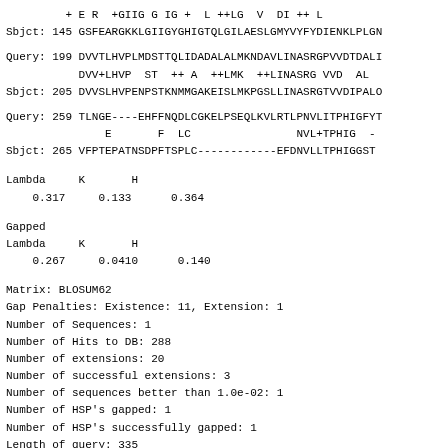+ E R  +GIIG G IG +  L ++LG  V  DI ++ L
Sbjct: 145 GSFEARGKKLGIIGYGHIGTQLGILAESLGMYVYFYDIENKLPLGN
Query: 199 DVVTLHVPLMDSTTQLIDADALALMKNDAVLINASRGPVVDTDALI
         DVV+LHVP  ST  ++ A  ++LMK  ++LINASRG VVD  AL
Sbjct: 205 DVVSLHVPENPSTKNMMGAKEISLMKPGSLLINASRGTVVDIPALO
Query: 259 TLNGE----EHFFNQDLCGKELPSEQLKVLRTLPNVLITPHIGFYT
              E       F  LC                NVL+TPHIG  -
Sbjct: 265 VFPTEPATNSDPFTSPLC----------EFDNVLLTPHIGGST
Lambda     K       H
    0.317     0.133      0.364
Gapped
Lambda     K       H
    0.267     0.0410      0.140
Matrix: BLOSUM62
Gap Penalties: Existence: 11, Extension: 1
Number of Sequences: 1
Number of Hits to DB: 288
Number of extensions: 20
Number of successful extensions: 3
Number of sequences better than 1.0e-02: 1
Number of HSP's gapped: 1
Number of HSP's successfully gapped: 1
Length of query: 335